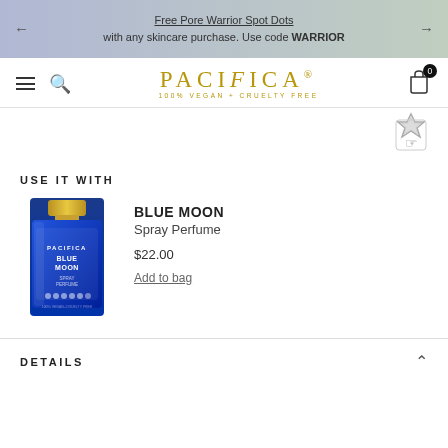Free Pore Warrior Spot Dots with any skincare purchase. Use code WARRIOR
[Figure (logo): Pacifica beauty logo with text '100% VEGAN + CRUELTY FREE']
[Figure (illustration): Cruelty-free certification stamp icon with hand pointing]
USE IT WITH
[Figure (photo): Blue Moon Spray Perfume bottle with gold cap, blue glass bottle with Pacifica branding]
BLUE MOON
Spray Perfume
$22.00
Add to bag
DETAILS